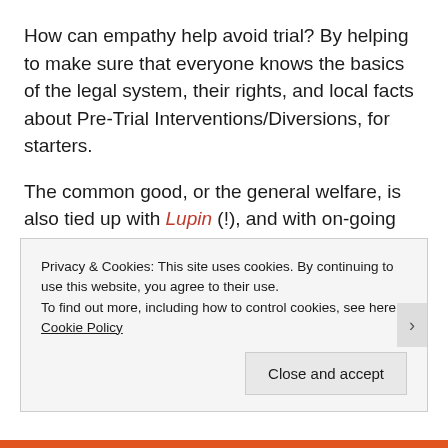How can empathy help avoid trial?  By helping to make sure that everyone knows the basics of the legal system, their rights, and local facts about Pre-Trial Interventions/Diversions, for starters.
The common good, or the general welfare, is also tied up with Lupin (!), and with on-going legal & financial pro-bono education (aka Adulting Education), which must become more fully inclusive for all of us.
–
Click here for English
Privacy & Cookies: This site uses cookies. By continuing to use this website, you agree to their use. To find out more, including how to control cookies, see here: Cookie Policy